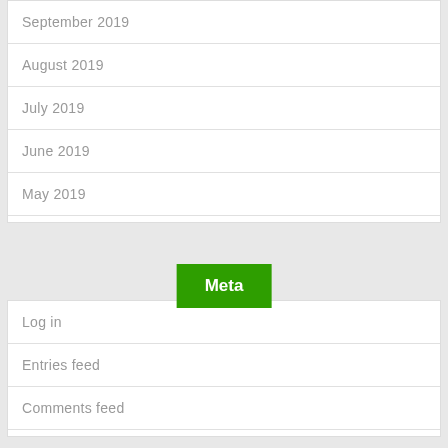September 2019
August 2019
July 2019
June 2019
May 2019
Meta
Log in
Entries feed
Comments feed